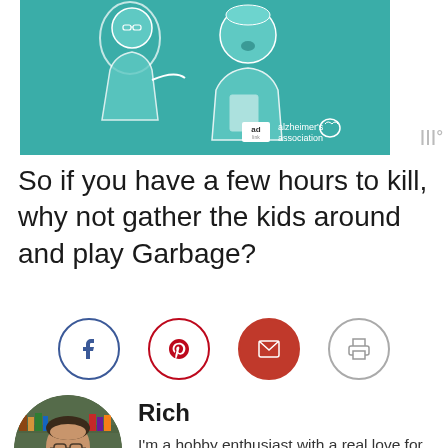[Figure (illustration): Teal-colored illustration advertisement featuring two elderly people, with Alzheimer's Association logo and 'ad' badge in the bottom right corner.]
So if you have a few hours to kill, why not gather the kids around and play Garbage?
[Figure (infographic): Social sharing buttons row: Facebook (blue circle), Pinterest (red circle), Email (red filled circle), Print (gray circle)]
[Figure (photo): Circular profile photo of a bespectacled man in a plaid shirt in front of board game shelves.]
Rich
I'm a hobby enthusiast with a real love for painting miniatures. I also happen to run this site and write the majority of its